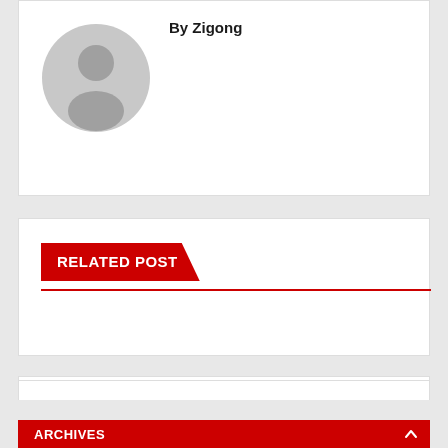[Figure (illustration): Generic user avatar placeholder — gray circle with silhouette of a person]
By Zigong
RELATED POST
[Figure (other): Search bar with red search button icon]
ARCHIVES